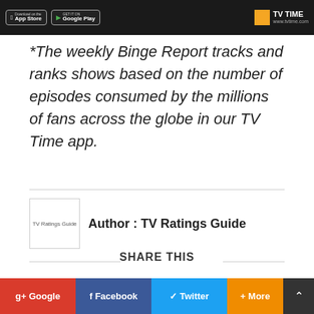[Figure (screenshot): Dark banner showing App Store and Google Play download buttons on the left, and TV Time logo and website URL on the right, on a black background.]
*The weekly Binge Report tracks and ranks shows based on the number of episodes consumed by the millions of fans across the globe in our TV Time app.
Author : TV Ratings Guide
SHARE THIS
g+ Google
f Facebook
Twitter
+ More